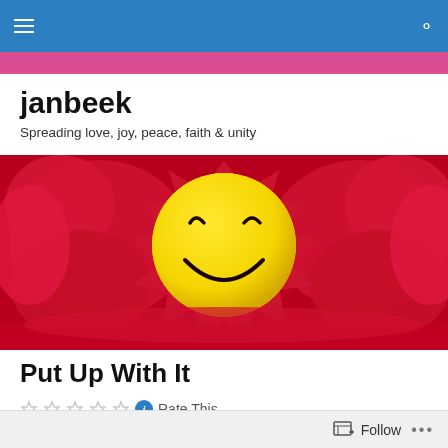janbeek blog navigation bar
janbeek
Spreading love, joy, peace, faith & unity
[Figure (illustration): Hero image showing a yellow smiley face emoji with closed eyes and a smile, surrounded by red/pink splatter background]
Put Up With It
Rate This
Follow